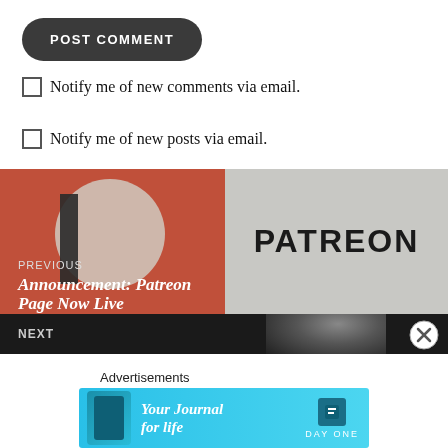POST COMMENT
Notify me of new comments via email.
Notify me of new posts via email.
[Figure (screenshot): Navigation block with PREVIOUS label and 'Announcement: Patreon Page Now Live' title over a red background with circle and bar graphic, and a gray 'PATREON' text on the right side]
NEXT
Advertisements
[Figure (screenshot): Day One app advertisement banner: 'Your Journal for life' with phone image and DAY ONE logo on cyan/blue background]